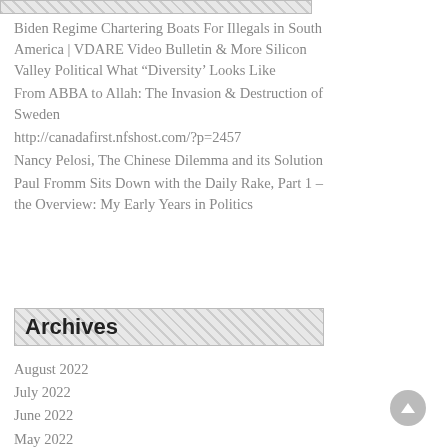Biden Regime Chartering Boats For Illegals in South America | VDARE Video Bulletin & More Silicon Valley Political What “Diversity’ Looks Like
From ABBA to Allah: The Invasion & Destruction of Sweden
http://canadafirst.nfshost.com/?p=2457
Nancy Pelosi, The Chinese Dilemma and its Solution
Paul Fromm Sits Down with the Daily Rake, Part 1 – the Overview: My Early Years in Politics
Archives
August 2022
July 2022
June 2022
May 2022